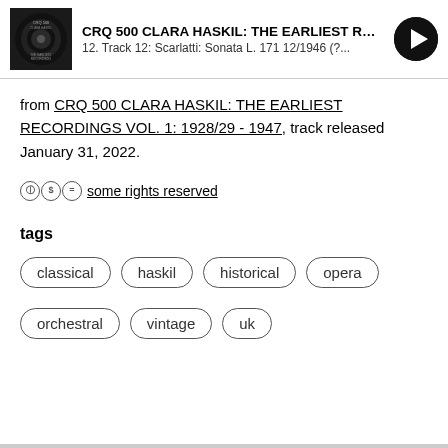CRQ 500 CLARA HASKIL: THE EARLIEST RE... | 12. Track 12: Scarlatti: Sonata L. 171 12/1946 (?...
from CRQ 500 CLARA HASKIL: THE EARLIEST RECORDINGS VOL. 1: 1928/29 - 1947, track released January 31, 2022.
some rights reserved
tags
classical
haskil
historical
opera
orchestral
vintage
uk